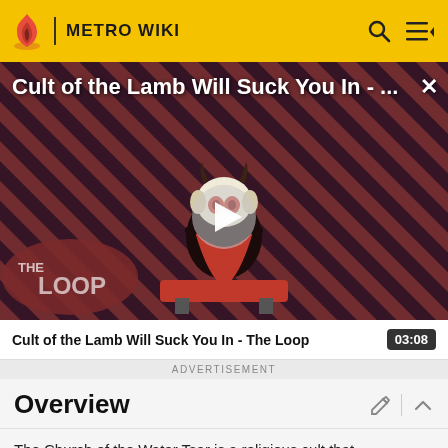METRO WIKI
[Figure (screenshot): Video thumbnail for 'Cult of the Lamb Will Suck You In - The Loop' showing a cartoon lamb character with red eyes on a striped dark-red background, with a play button in the center and 'THE LOOP' text badge in the lower left.]
Cult of the Lamb Will Suck You In - The Loop  03:08
ADVERTISEMENT
Overview
The Church of the Water Tsar is a religious cult that